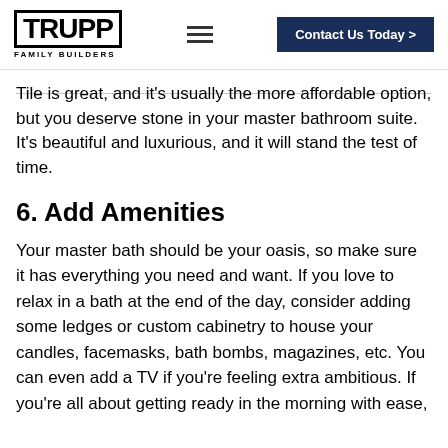RUPP FAMILY BUILDERS — Contact Us Today >
Tile is great, and it's usually the more affordable option, but you deserve stone in your master bathroom suite. It's beautiful and luxurious, and it will stand the test of time.
6. Add Amenities
Your master bath should be your oasis, so make sure it has everything you need and want. If you love to relax in a bath at the end of the day, consider adding some ledges or custom cabinetry to house your candles, facemasks, bath bombs, magazines, etc. You can even add a TV if you're feeling extra ambitious. If you're all about getting ready in the morning with ease,